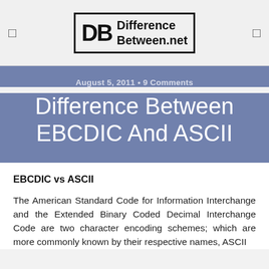DifferenceBetween.net
August 5, 2011 • 9 Comments
Difference Between EBCDIC And ASCII
EBCDIC vs ASCII
The American Standard Code for Information Interchange and the Extended Binary Coded Decimal Interchange Code are two character encoding schemes; which are more commonly known by their respective names, ASCII